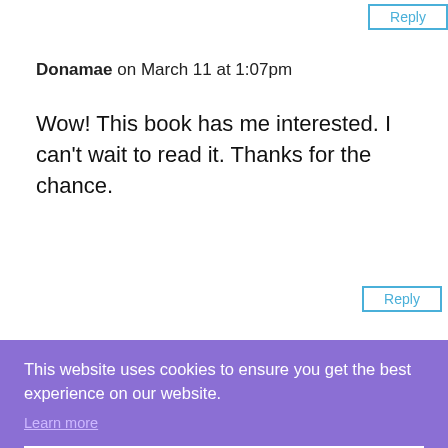Reply
Donamae on March 11 at 1:07pm
Wow! This book has me interested. I can't wait to read it. Thanks for the chance.
Reply
This website uses cookies to ensure you get the best experience on our website.
Learn more
Got it